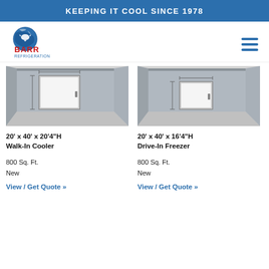KEEPING IT COOL SINCE 1978
[Figure (logo): Barr Refrigeration logo with blue globe and red BARR text]
[Figure (illustration): 20' x 40' x 20'4"H Walk-In Cooler - engineering diagram showing room interior with door]
20' x 40' x 20'4"H
Walk-In Cooler
800 Sq. Ft.
New
View / Get Quote »
[Figure (illustration): 20' x 40' x 16'4"H Drive-In Freezer - engineering diagram showing room interior with door]
20' x 40' x 16'4"H
Drive-In Freezer
800 Sq. Ft.
New
View / Get Quote »